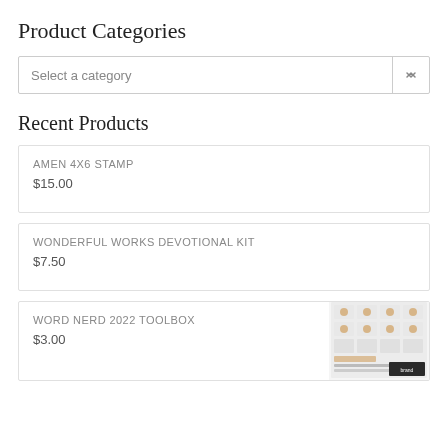Product Categories
Select a category
Recent Products
AMEN 4X6 STAMP
$15.00
WONDERFUL WORKS DEVOTIONAL KIT
$7.50
WORD NERD 2022 TOOLBOX
$3.00